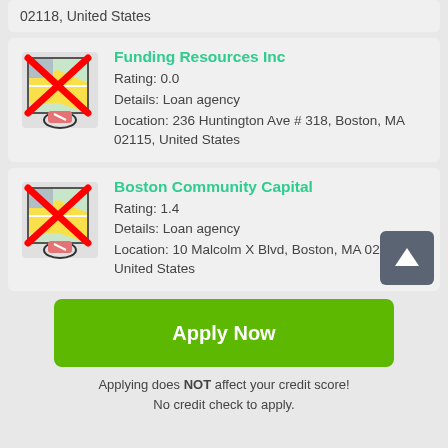02118, United States
[Figure (screenshot): Listing card for Funding Resources Inc with map icon crossed out]
Funding Resources Inc
Rating: 0.0
Details: Loan agency
Location: 236 Huntington Ave # 318, Boston, MA 02115, United States
[Figure (screenshot): Listing card for Boston Community Capital with map icon crossed out and scroll-to-top button]
Boston Community Capital
Rating: 1.4
Details: Loan agency
Location: 10 Malcolm X Blvd, Boston, MA 02119, United States
Apply Now
Applying does NOT affect your credit score!
No credit check to apply.